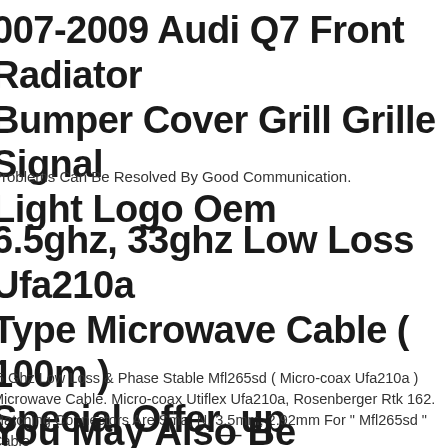2007-2009 Audi Q7 Front Radiator Bumper Cover Grill Grille Signal Light Logo Oem
Problems Can Be Resolved By Good Communication.
6.5ghz, 33ghz Low Loss Ufa210a Type Microwave Cable ( 100m ) Special Offer_up
5 Ghz Low Loss & Phase Stable Mfl265sd ( Micro-coax Ufa210a ) Microwave Cable. Micro-coax Utiflex Ufa210a, Rosenberger Rtk 162. Matching Connectors Are Sma, N, 3.5mm, 2.92mm For " Mfl265sd " Cable ( Micro-coax Ufa210a ).
You May Also Be Interested In